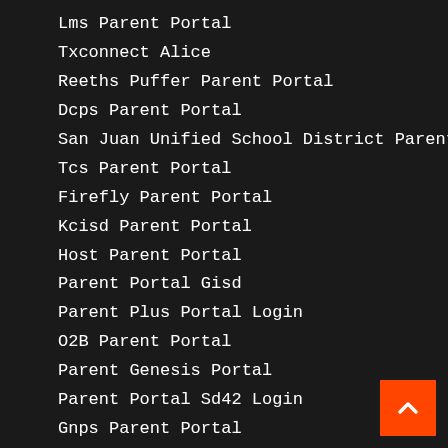Lms Parent Portal
Txconnect Alice
Reeths Puffer Parent Portal
Dcps Parent Portal
San Juan Unified School District Parent Portal
Tcs Parent Portal
Firefly Parent Portal
Kcisd Parent Portal
Host Parent Portal
Parent Portal Gisd
Parent Plus Portal Login
O2B Parent Portal
Parent Genesis Portal
Parent Portal Sd42 Login
Gnps Parent Portal
Whrhs Parent Portal
Ncsd Parent Portal
Acries Portal Loca